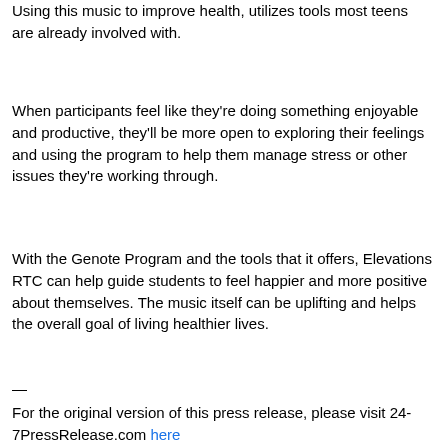Using this music to improve health, utilizes tools most teens are already involved with.
When participants feel like they're doing something enjoyable and productive, they'll be more open to exploring their feelings and using the program to help them manage stress or other issues they're working through.
With the Genote Program and the tools that it offers, Elevations RTC can help guide students to feel happier and more positive about themselves. The music itself can be uplifting and helps the overall goal of living healthier lives.
—
For the original version of this press release, please visit 24-7PressRelease.com here